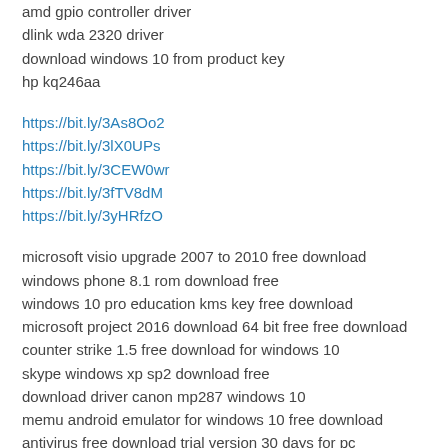amd gpio controller driver
dlink wda 2320 driver
download windows 10 from product key
hp kq246aa
https://bit.ly/3As8Oo2
https://bit.ly/3lX0UPs
https://bit.ly/3CEW0wr
https://bit.ly/3fTV8dM
https://bit.ly/3yHRfzO
microsoft visio upgrade 2007 to 2010 free download
windows phone 8.1 rom download free
windows 10 pro education kms key free download
microsoft project 2016 download 64 bit free free download
counter strike 1.5 free download for windows 10
skype windows xp sp2 download free
download driver canon mp287 windows 10
memu android emulator for windows 10 free download
antivirus free download trial version 30 days for pc
netflix download pc windows 8.1
https://bit.ly/2VLtGaY